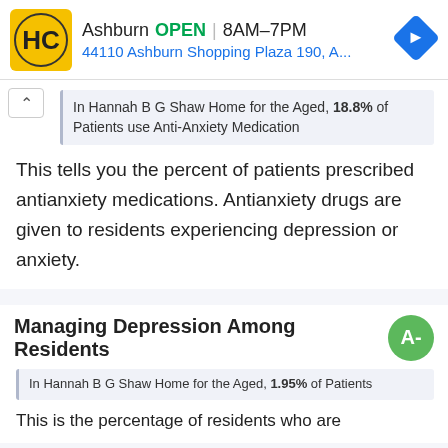[Figure (logo): HC logo yellow background with black HC letters]
Ashburn  OPEN | 8AM–7PM
44110 Ashburn Shopping Plaza 190, A...
In Hannah B G Shaw Home for the Aged, 18.8% of Patients use Anti-Anxiety Medication
This tells you the percent of patients prescribed antianxiety medications. Antianxiety drugs are given to residents experiencing depression or anxiety.
Managing Depression Among Residents
In Hannah B G Shaw Home for the Aged, 1.95% of Patients
This is the percentage of residents who are